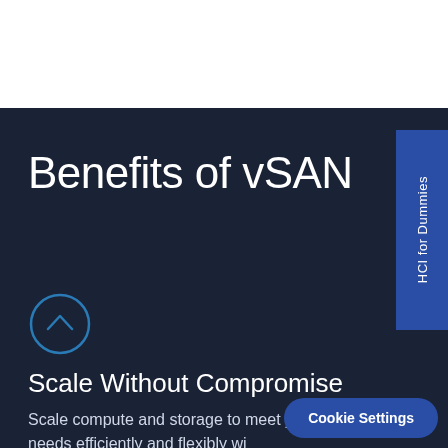Benefits of vSAN
HCI for Dummies
Scale Without Compromise
Scale compute and storage to meet your application needs efficiently and flexibly wi